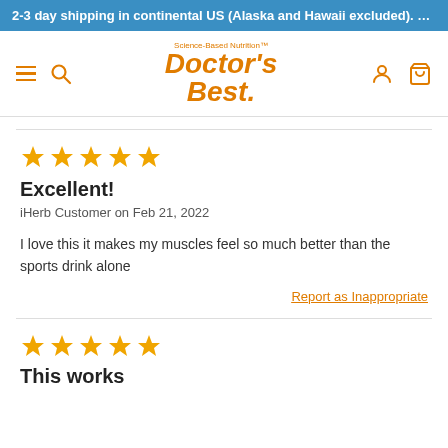2-3 day shipping in continental US (Alaska and Hawaii excluded). Free S…
[Figure (logo): Doctor's Best Science-Based Nutrition logo with navigation icons (hamburger menu, search, user, cart)]
★★★★★
Excellent!
iHerb Customer on Feb 21, 2022
I love this it makes my muscles feel so much better than the sports drink alone
Report as Inappropriate
★★★★★
This works